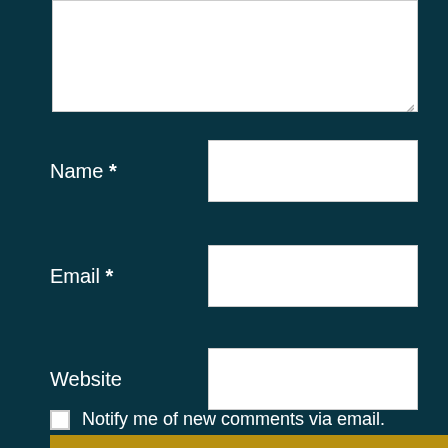[Figure (screenshot): Web comment form with textarea (partially visible at top), Name, Email, Website input fields, a POST COMMENT button, and a checkbox for email notifications, all on a dark teal background.]
Name *
Email *
Website
POST COMMENT
Notify me of new comments via email.